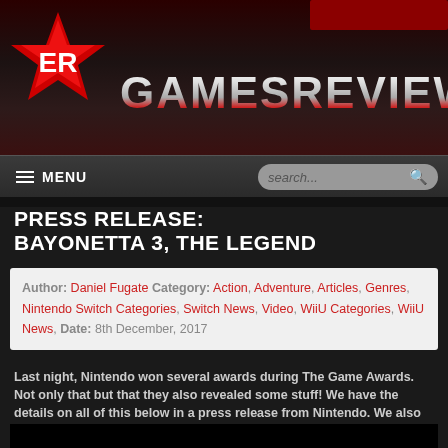[Figure (logo): GamesReviews website header with red star/ninja logo on left and GAMESREVIEWS text in metallic gradient on right, dark red background]
MENU | search...
PRESS RELEASE: BAYONETTA 3, THE LEGEND
Author: Daniel Fugate Category: Action, Adventure, Articles, Genres, Nintendo Switch Categories, Switch News, Video, WiiU Categories, WiiU News, Date: 8th December, 2017
Last night, Nintendo won several awards during The Game Awards. Not only that but that they also revealed some stuff! We have the details on all of this below in a press release from Nintendo. We also have the trailer announcing Bayonetta 3!
[Figure (screenshot): Dark video thumbnail/embed at bottom of article]